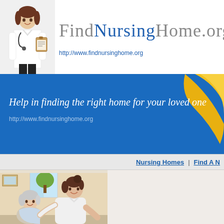[Figure (photo): Doctor/nurse in white coat with stethoscope holding a clipboard, standing in the top-left header area]
FindNursingHome.org
http://www.findnursinghome.org
[Figure (infographic): Blue banner background with yellow decorative swoosh element on the right side]
Help in finding the right home for your loved one
http://www.findnursinghome.org
Nursing Homes | Find A N
[Figure (photo): A nurse or caregiver in white polo shirt smiling and assisting an elderly woman with grey hair, in a home setting]